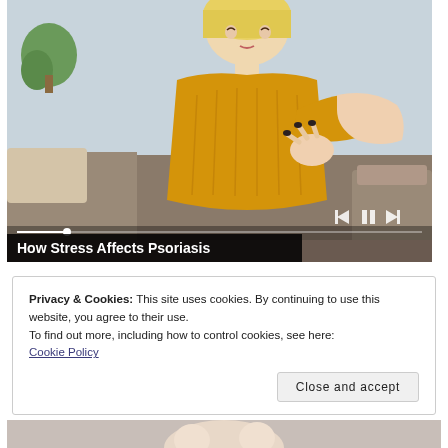[Figure (screenshot): Video player showing a blonde woman in a yellow knit sweater scratching her elbow while seated on a couch. The video has playback controls (skip back, pause, skip forward) in the lower right, a progress bar, and a title overlay at the bottom reading 'How Stress Affects Psoriasis'.]
How Stress Affects Psoriasis
Privacy & Cookies: This site uses cookies. By continuing to use this website, you agree to their use.
To find out more, including how to control cookies, see here:
Cookie Policy
Close and accept
[Figure (photo): Partial view of a person's face and upper body at the bottom of the page, cropped.]